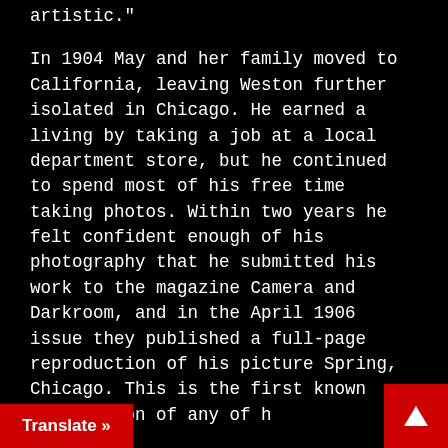a period in which I was trying to be artistic."
In 1904 May and her family moved to California, leaving Weston further isolated in Chicago. He earned a living by taking a job at a local department store, but he continued to spend most of his free time taking photos. Within two years he felt confident enough of his photography that he submitted his work to the magazine Camera and Darkroom, and in the April 1906 issue they published a full-page reproduction of his picture Spring, Chicago. This is the first known publication of any of his photographs.